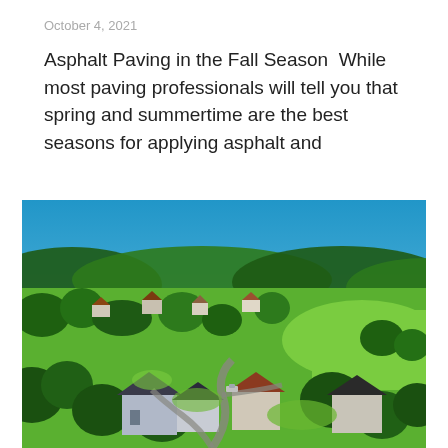October 4, 2021
Asphalt Paving in the Fall Season  While most paving professionals will tell you that spring and summertime are the best seasons for applying asphalt and
[Figure (photo): Aerial drone photograph of a suburban residential neighborhood with asphalt roads, houses, green lawns, and trees, under a clear blue sky.]